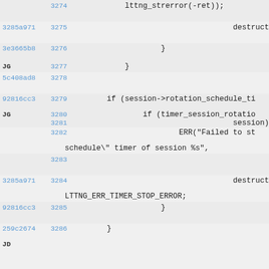3274  lttng_strerror(-ret));
3285a971 3275  destruction_last_
3e3665b8 3276  }
JG 3277  }
5c408ad8 3278
92816cc3 JG 3279  if (session->rotation_schedule_ti
3280  if (timer_session_rotatio
3281  session))
3282  ERR("Failed to st schedule\" timer of session %s",
3283  s
3285a971 3284  destruction_last_ LTTNG_ERR_TIMER_STOP_ERROR;
92816cc3 3285  }
259c2674 3286  }
JD